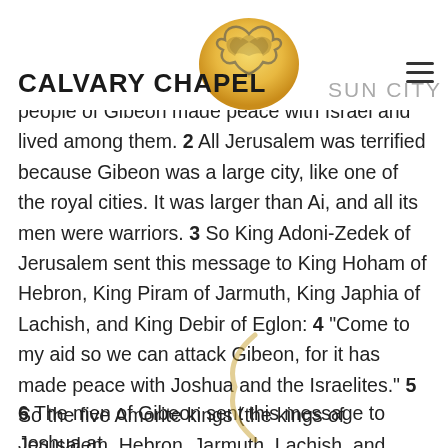CALVARY CHAPEL SUN CITY
people of Gibeon made peace with Israel and lived among them. 2 All Jerusalem was terrified because Gibeon was a large city, like one of the royal cities. It was larger than Ai, and all its men were warriors. 3 So King Adoni-Zedek of Jerusalem sent this message to King Hoham of Hebron, King Piram of Jarmuth, King Japhia of Lachish, and King Debir of Eglon: 4 “Come to my aid so we can attack Gibeon, for it has made peace with Joshua and the Israelites.” 5 So the five Amorite kings (the kings of Jerusalem, Hebron, Jarmuth, Lachish, and Eglon) and all their troops gathered together and advanced. They deployed their troops and fought against Gibeon.
6 The men of Gibeon sent this message to Joshua at